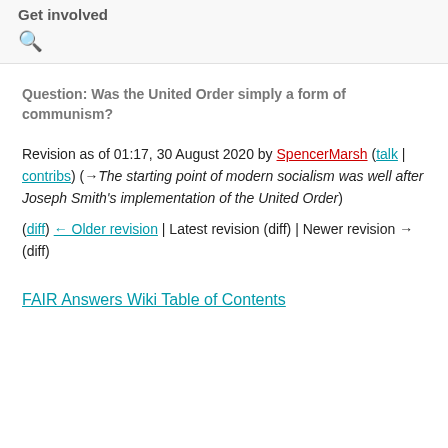Get involved
Question: Was the United Order simply a form of communism?
Revision as of 01:17, 30 August 2020 by SpencerMarsh (talk | contribs) (→The starting point of modern socialism was well after Joseph Smith's implementation of the United Order)
(diff) ← Older revision | Latest revision (diff) | Newer revision → (diff)
FAIR Answers Wiki Table of Contents